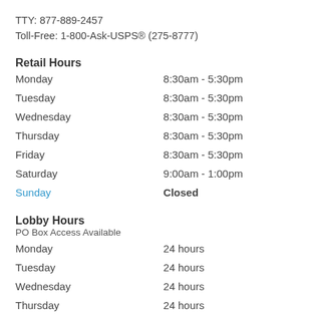TTY: 877-889-2457
Toll-Free: 1-800-Ask-USPS® (275-8777)
Retail Hours
| Monday | 8:30am - 5:30pm |
| Tuesday | 8:30am - 5:30pm |
| Wednesday | 8:30am - 5:30pm |
| Thursday | 8:30am - 5:30pm |
| Friday | 8:30am - 5:30pm |
| Saturday | 9:00am - 1:00pm |
| Sunday | Closed |
Lobby Hours
PO Box Access Available
| Monday | 24 hours |
| Tuesday | 24 hours |
| Wednesday | 24 hours |
| Thursday | 24 hours |
| Friday | 24 hours |
| Saturday | 24 hours |